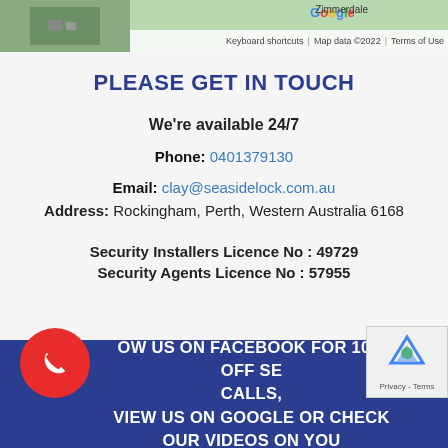[Figure (screenshot): Google Maps strip showing map thumbnail on left and Zimmerdale label, with map footer bar showing Keyboard shortcuts, Map data ©2022, Terms of Use]
PLEASE GET IN TOUCH
We're available 24/7
Phone: 0401379130
Email: clay@seasidelock.com.au
Address: Rockingham, Perth, Western Australia 6168
Security Installers Licence No : 49729
Security Agents Licence No : 57955
OW US ON FACEBOOK FOR 10% OFF SE... CALLS, VIEW US ON GOOGLE OR CHECK OUR VIDEOS ON YOU...